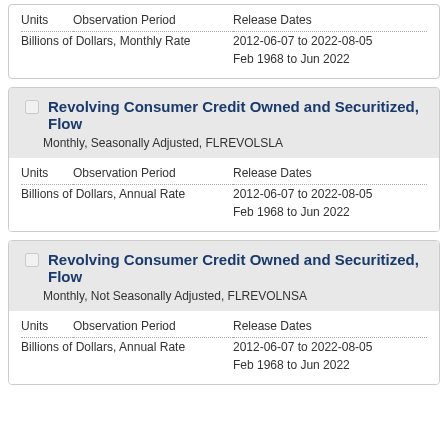| Units | Observation Period | Release Dates |
| --- | --- | --- |
| Billions of Dollars, Monthly Rate |  | 2012-06-07 to 2022-08-05 |
|  |  | Feb 1968 to Jun 2022 |
Revolving Consumer Credit Owned and Securitized, Flow
Monthly, Seasonally Adjusted, FLREVOLSLA
| Units | Observation Period | Release Dates |
| --- | --- | --- |
| Billions of Dollars, Annual Rate |  | 2012-06-07 to 2022-08-05 |
|  |  | Feb 1968 to Jun 2022 |
Revolving Consumer Credit Owned and Securitized, Flow
Monthly, Not Seasonally Adjusted, FLREVOLNSA
| Units | Observation Period | Release Dates |
| --- | --- | --- |
| Billions of Dollars, Annual Rate |  | 2012-06-07 to 2022-08-05 |
|  |  | Feb 1968 to Jun 2022 |